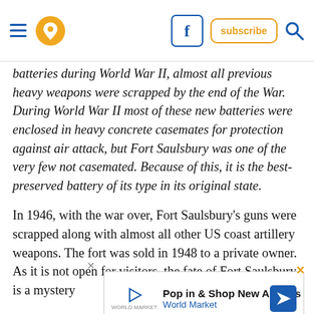[Navigation header with hamburger menu, location pin icon, Facebook button, Subscribe button, Search icon]
batteries during World War II, almost all previous heavy weapons were scrapped by the end of the War. During World War II most of these new batteries were enclosed in heavy concrete casemates for protection against air attack, but Fort Saulsbury was one of the very few not casemated. Because of this, it is the best-preserved battery of its type in its original state.
In 1946, with the war over, Fort Saulsbury's guns were scrapped along with almost all other US coast artillery weapons. The fort was sold in 1948 to a private owner. As it is not open for visitors, the fate of Fort Saulsbury is a mystery
[Figure (other): Advertisement banner: Pop in & Shop New Arrivals - World Market, with play button and navigation arrow icon]
Delaware's past as a strategic military location is not completely irrelevant in present day – after all, Dover Air Force Base is one of the most important Air Force Bases in